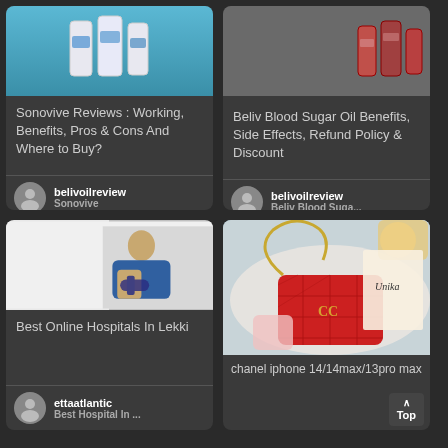[Figure (screenshot): Top-left card: product bottles image with blue/cyan background]
Sonovive Reviews : Working, Benefits, Pros & Cons And Where to Buy?
belivoilreview
Sonovive
[Figure (screenshot): Top-right card: blood sugar oil product bottles]
Beliv Blood Sugar Oil Benefits, Side Effects, Refund Policy & Discount
belivoilreview
Beliv Blood Suga...
[Figure (photo): Bottom-left card: medical blood pressure check image]
Best Online Hospitals In Lekki
ettaatlantic
Best Hospital In ...
[Figure (photo): Bottom-right card: red Chanel quilted purse/bag with chain strap on white table with magazine]
chanel iphone 14/14max/13pro max